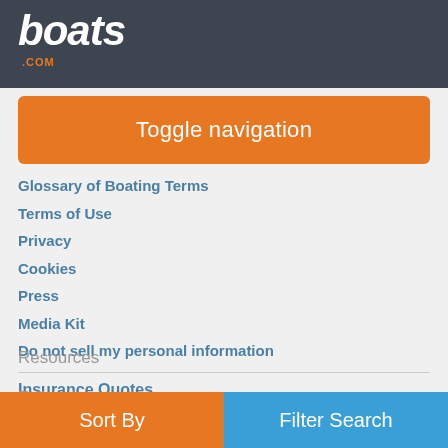boats.com
Toggle navigation
Glossary of Boating Terms
Terms of Use
Privacy
Cookies
Press
Media Kit
Do not sell my personal information
Resources
Insurance Quotes
Follow boats.com
Sort By | Filter Search